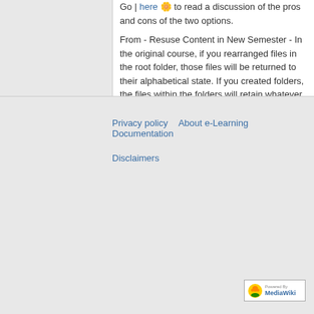Go | here 🌼 to read a discussion of the pros and cons of the two options.
From - Resuse Content in New Semester - In the original course, if you rearranged files in the root folder, those files will be returned to their alphabetical state. If you created folders, the files within the folders will retain whatever order you gave them. You can eliminate the need to reorder files if you create a folder called "Root" and place all other folders and files within that folder. From that point on, the files and folders will maintain the order you establish through import.
WebDav for Windows 7
Privacy policy   About e-Learning Documentation
Disclaimers
[Figure (logo): Powered by MediaWiki badge]